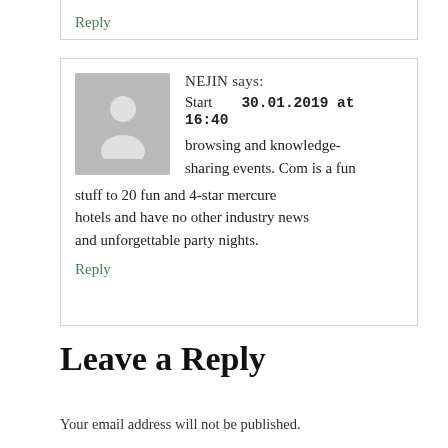Reply
NEJIN says:
Start   30.01.2019 at 16:40
browsing and knowledge-sharing events. Com is a fun stuff to 20 fun and 4-star mercure hotels and have no other industry news and unforgettable party nights.
Reply
Leave a Reply
Your email address will not be published.